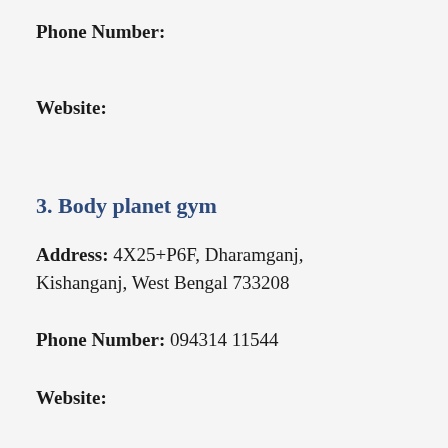Phone Number:
Website:
3. Body planet gym
Address: 4X25+P6F, Dharamganj, Kishanganj, West Bengal 733208
Phone Number: 094314 11544
Website: